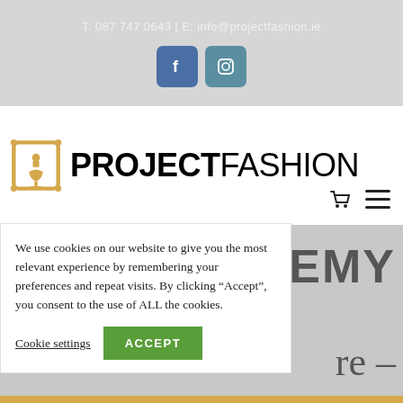T: 087 747 0643 | E: info@projectfashion.ie
[Figure (logo): Facebook and Instagram social media icon buttons in blue/teal square rounded buttons]
[Figure (logo): Project Fashion logo with decorative frame icon and bold PROJECT FASHION text]
We use cookies on our website to give you the most relevant experience by remembering your preferences and repeat visits. By clicking “Accept”, you consent to the use of ALL the cookies.
Cookie settings   ACCEPT
EMY
re –